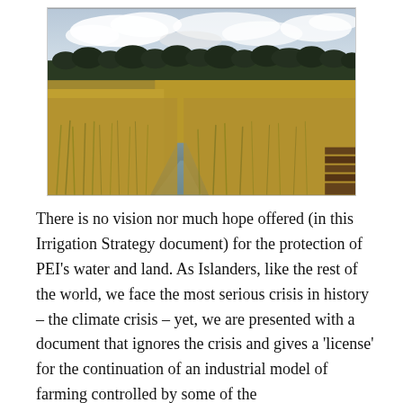[Figure (photo): Outdoor wetland/marsh landscape photograph showing a narrow stream or drainage channel running through tall golden grasses and reeds, with a dense treeline in the background under a partly cloudy sky. Wooden boards or a structure visible at the right edge.]
There is no vision nor much hope offered (in this Irrigation Strategy document) for the protection of PEI's water and land. As Islanders, like the rest of the world, we face the most serious crisis in history – the climate crisis – yet, we are presented with a document that ignores the crisis and gives a 'license' for the continuation of an industrial model of farming controlled by... [continues]